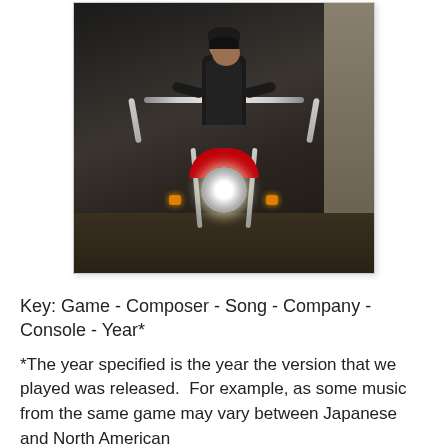[Figure (photo): Two people sitting on a motorcycle at night, both wearing dark leather jackets. The motorcycle has a prominent chrome headlight and orange turn signals. The scene is dark with a wall visible in the background.]
Key: Game - Composer - Song - Company - Console - Year*
*The year specified is the year the version that we played was released.  For example, as some music from the same game may vary between Japanese and North American